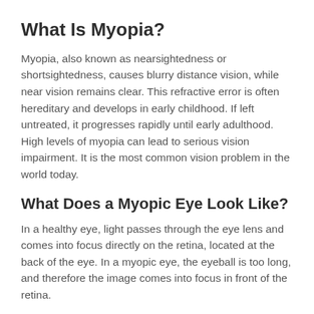What Is Myopia?
Myopia, also known as nearsightedness or shortsightedness, causes blurry distance vision, while near vision remains clear. This refractive error is often hereditary and develops in early childhood. If left untreated, it progresses rapidly until early adulthood. High levels of myopia can lead to serious vision impairment. It is the most common vision problem in the world today.
What Does a Myopic Eye Look Like?
In a healthy eye, light passes through the eye lens and comes into focus directly on the retina, located at the back of the eye. In a myopic eye, the eyeball is too long, and therefore the image comes into focus in front of the retina.